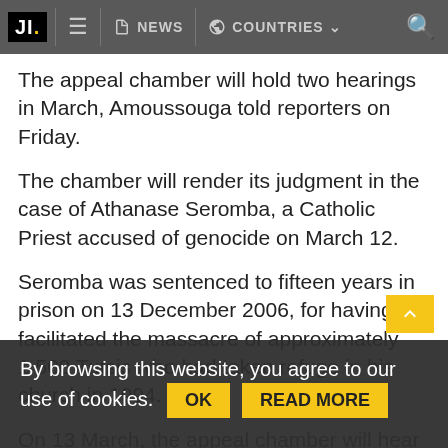JI. NEWS COUNTRIES
The appeal chamber will hold two hearings in March, Amoussouga told reporters on Friday.
The chamber will render its judgment in the case of Athanase Seromba, a Catholic Priest accused of genocide on March 12.
Seromba was sentenced to fifteen years in prison on 13 December 2006, for having facilitated the massacre of approximately 1 500 Tutsis who had taken refuge in his church in 1994.
On 13 March, the appeal chamber will hear arguments from the parties in the case of Tharcisse Renzaho, a former Prefect of Kigali, Rwanda, who was convicted of genocide on 12 September 2006.
By browsing this website, you agree to our use of cookies.